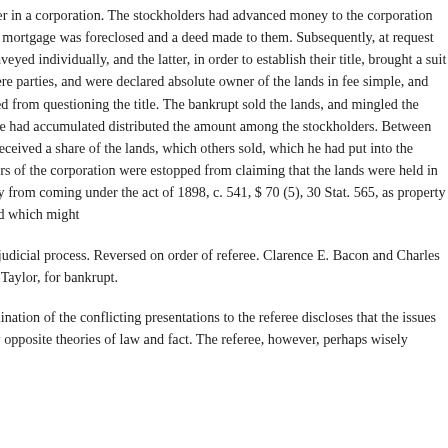A bankrupt had been a stockholder in a corporation. The stockholders had advanced money to the corporation and taken a mortgage on its lands. The mortgage was foreclosed and a deed made to them. Subsequently, at request of the stockholders, the lands were conveyed individually, and the latter, in order to establish their title, brought a suit in equity, to which the stockholders were parties, and were declared absolute owner of the lands in fee simple, and certain named defendants were enjoined from questioning the title. The bankrupt sold the lands, and mingled the proceeds with other funds, and when he had accumulated distributed the amount among the stockholders. Between his adjudication as a bankrupt he had received a share of the lands, which others sold, which he had put into the general fund. Held, that the stockholders of the corporation were estopped from claiming that the lands were held in trust, which would prevent the property from coming under the act of 1898, c. 541, $ 70 (5), 30 Stat. 565, as property which might have been transferred, and which might
have been levied upon and sold under judicial process. Reversed on order of referee. Clarence E. Bacon and Charles P. Rogers, for Ely, for trustee. Howard Taylor, for bankrupt.
PLATT, District Judge. A careful examination of the conflicting presentations to the referee discloses that the issues are clearly separated into diametrically opposite theories of law and fact. The referee, however, perhaps wisely